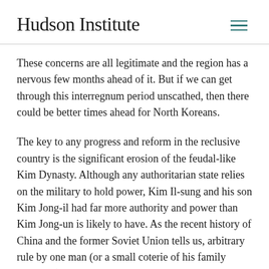Hudson Institute
These concerns are all legitimate and the region has a nervous few months ahead of it. But if we can get through this interregnum period unscathed, then there could be better times ahead for North Koreans.
The key to any progress and reform in the reclusive country is the significant erosion of the feudal-like Kim Dynasty. Although any authoritarian state relies on the military to hold power, Kim Il-sung and his son Kim Jong-il had far more authority and power than Kim Jong-un is likely to have. As the recent history of China and the former Soviet Union tells us, arbitrary rule by one man (or a small coterie of his family members) is